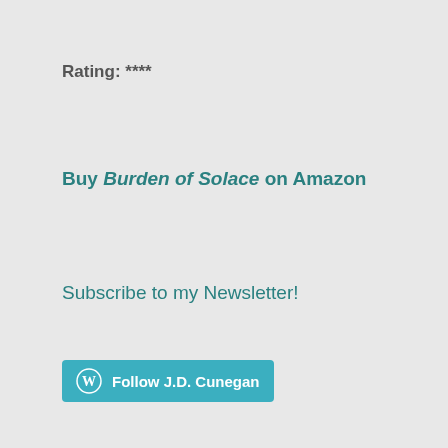Rating: ****
Buy Burden of Solace on Amazon
Subscribe to my Newsletter!
Follow J.D. Cunegan